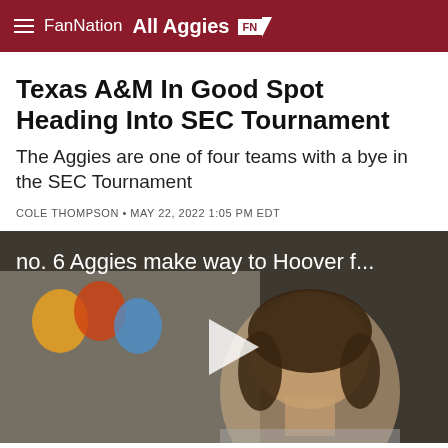FanNation All Aggies FN
Texas A&M In Good Spot Heading Into SEC Tournament
The Aggies are one of four teams with a bye in the SEC Tournament
COLE THOMPSON • MAY 22, 2022 1:05 PM EDT
[Figure (screenshot): Video thumbnail showing a woman speaking, with text overlay 'no. 6 Aggies make way to Hoover f...' and a play button in the center. Background shows colorful balloons.]